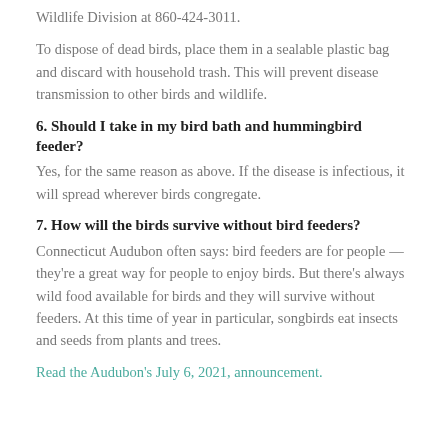Wildlife Division at 860-424-3011.
To dispose of dead birds, place them in a sealable plastic bag and discard with household trash. This will prevent disease transmission to other birds and wildlife.
6. Should I take in my bird bath and hummingbird feeder?
Yes, for the same reason as above. If the disease is infectious, it will spread wherever birds congregate.
7. How will the birds survive without bird feeders?
Connecticut Audubon often says: bird feeders are for people — they're a great way for people to enjoy birds. But there's always wild food available for birds and they will survive without feeders. At this time of year in particular, songbirds eat insects and seeds from plants and trees.
Read the Audubon's July 6, 2021, announcement.